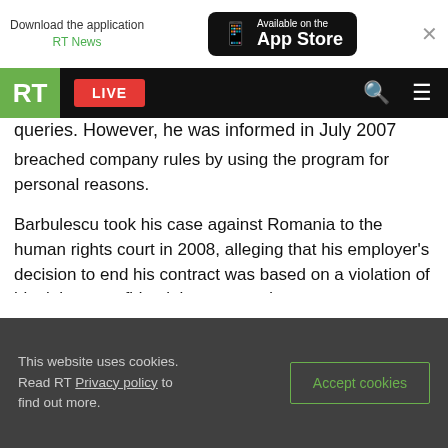[Figure (screenshot): App download banner for RT News app on App Store, with close button]
[Figure (screenshot): RT navigation bar with green RT logo, red LIVE button, search and menu icons]
queries. However, he was informed in July 2007
breached company rules by using the program for personal reasons.
Barbulescu took his case against Romania to the human rights court in 2008, alleging that his employer's decision to end his contract was based on a violation of his right to confidential correspondence.
However, the court ruled that “the employer’s monitoring was limited in scope and proportionate.”
[Figure (screenshot): Cookie consent banner with privacy policy link and Accept cookies button]